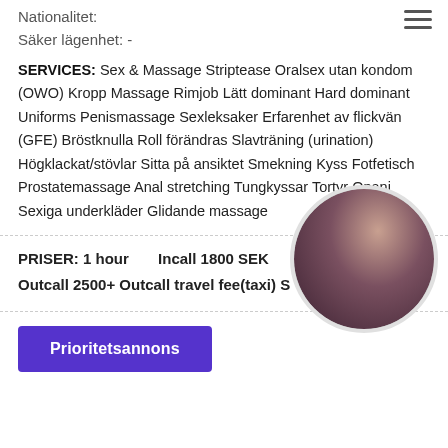Nationalitet:
Säker lägenhet: -
SERVICES: Sex & Massage Striptease Oralsex utan kondom (OWO) Kropp Massage Rimjob Lätt dominant Hard dominant Uniforms Penismassage Sexleksaker Erfarenhet av flickvän (GFE) Bröstknulla Roll förändras Slavträning (urination) Högklackat/stövlar Sitta på ansiktet Smekning Kyss Fotfetisch Prostatemassage Anal stretching Tungkyssar Tortyr Onani Sexiga underkläder Glidande massage
PRISER: 1 hour    Incall 1800 SEK
Outcall 2500+ Outcall travel fee(taxi) S
Prioritetsannons
[Figure (photo): Circular profile photo of a dark-haired woman]